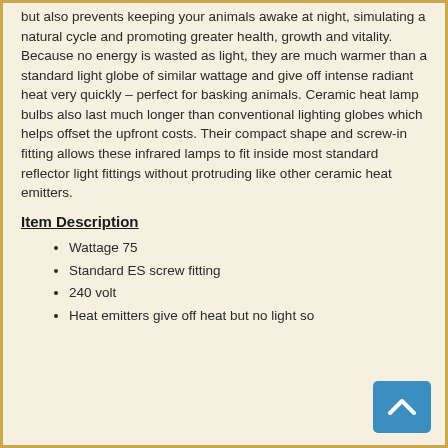but also prevents keeping your animals awake at night, simulating a natural cycle and promoting greater health, growth and vitality. Because no energy is wasted as light, they are much warmer than a standard light globe of similar wattage and give off intense radiant heat very quickly – perfect for basking animals. Ceramic heat lamp bulbs also last much longer than conventional lighting globes which helps offset the upfront costs. Their compact shape and screw-in fitting allows these infrared lamps to fit inside most standard reflector light fittings without protruding like other ceramic heat emitters.
Item Description
Wattage 75
Standard ES screw fitting
240 volt
Heat emitters give off heat but no light so